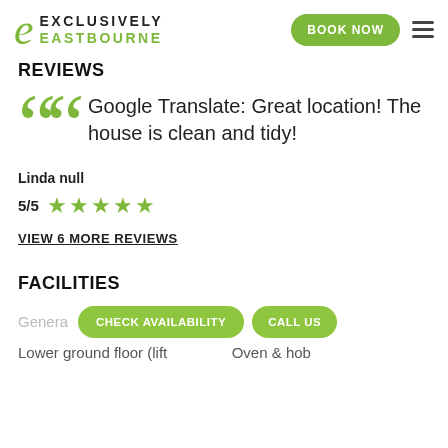EXCLUSIVELY EASTBOURNE — BOOK NOW
REVIEWS
Google Translate: Great location! The house is clean and tidy!
Linda null
5/5 ★★★★★
VIEW 6 MORE REVIEWS
FACILITIES
General
CHECK AVAILABILITY   CALL US
Lower ground floor (lift   Oven & hob